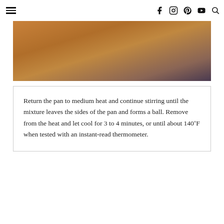☰ [hamburger menu] | [facebook] [instagram] [pinterest] [youtube] [search]
[Figure (photo): Close-up photo of food in a pan showing golden-brown and reddish-brown tones, likely dough or a mixture being cooked.]
Return the pan to medium heat and continue stirring until the mixture leaves the sides of the pan and forms a ball. Remove from the heat and let cool for 3 to 4 minutes, or until about 140˚F when tested with an instant-read thermometer.